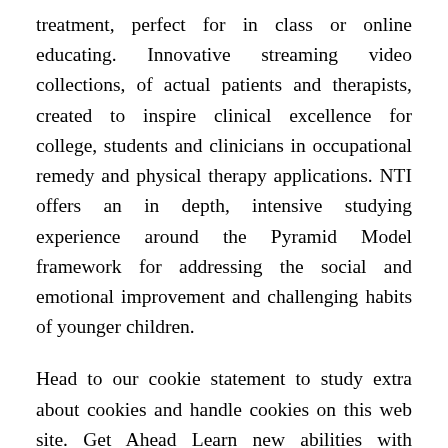treatment, perfect for in class or online educating. Innovative streaming video collections, of actual patients and therapists, created to inspire clinical excellence for college, students and clinicians in occupational remedy and physical therapy applications. NTI offers an in depth, intensive studying experience around the Pyramid Model framework for addressing the social and emotional improvement and challenging habits of younger children.
Head to our cookie statement to study extra about cookies and handle cookies on this web site. Get Ahead Learn new abilities with tutorials, how-to guides and helpful ideas from the official CyberLink weblog.